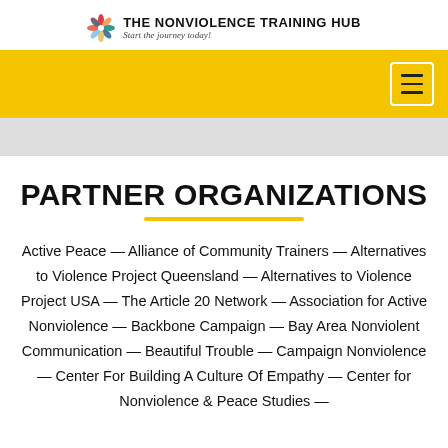THE NONVIOLENCE TRAINING HUB — Start the journey today!
PARTNER ORGANIZATIONS
Active Peace — Alliance of Community Trainers — Alternatives to Violence Project Queensland — Alternatives to Violence Project USA — The Article 20 Network — Association for Active Nonviolence — Backbone Campaign — Bay Area Nonviolent Communication — Beautiful Trouble — Campaign Nonviolence — Center For Building A Culture Of Empathy — Center for Nonviolence & Peace Studies —